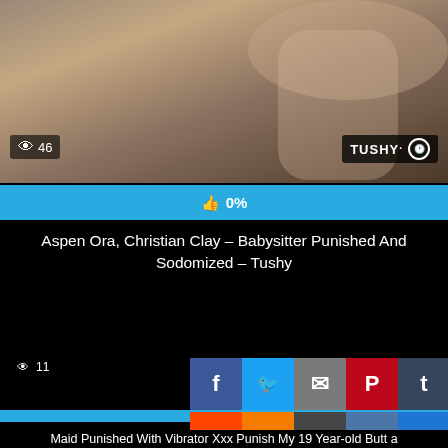[Figure (screenshot): Video thumbnail showing partial view with TUSHY watermark, view count 46, and 0% rating bar]
Aspen Ora, Christian Clay – Babysitter Punished And Sodomized – Tushy
[Figure (screenshot): Social sharing buttons: Facebook, Twitter, Email, Pinterest, Tumblr, scroll-to-top; second row: Reddit, Blogger, WordPress, VK, Plus; view count 11; duration; progress bar; bottom title text]
Maid Punished With Vibrator Xxx Punish My 19 Year-old Butt a